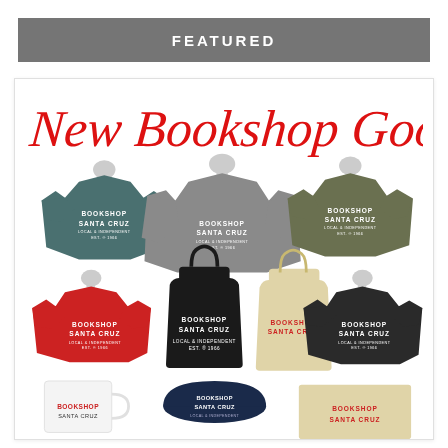FEATURED
[Figure (photo): Product collage showing New Bookshop Goods from Bookshop Santa Cruz — includes multiple t-shirts in teal, gray, olive, red, charcoal, and black colors on mannequins, black and natural canvas tote bags, a white mug, and a navy hat, all branded with 'BOOKSHOP SANTA CRUZ'. Red cursive script at top reads 'New Bookshop Goods'.]